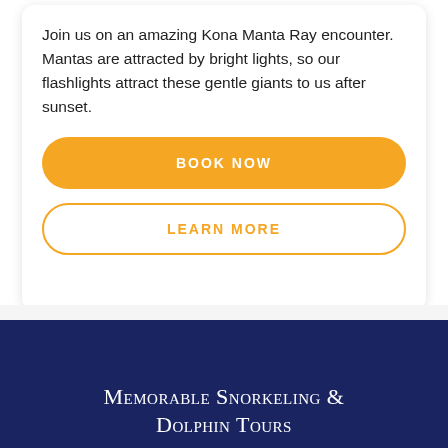Join us on an amazing Kona Manta Ray encounter. Mantas are attracted by bright lights, so our flashlights attract these gentle giants to us after sunset.
BOOK NOW
LEARN MORE
Memorable Snorkeling & Dolphin Tours